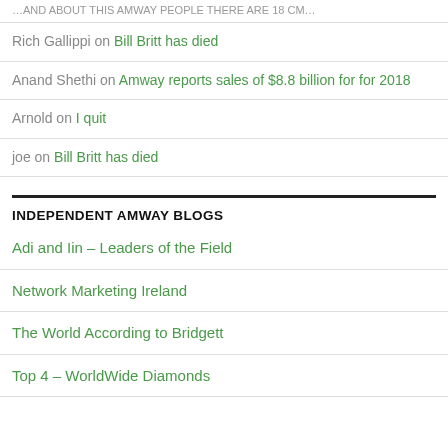…AND ABOUT THIS AMWAY PEOPLE THERE ARE 18 CM…
Rich Gallippi on Bill Britt has died
Anand Shethi on Amway reports sales of $8.8 billion for for 2018
Arnold on I quit
joe on Bill Britt has died
INDEPENDENT AMWAY BLOGS
Adi and Iin – Leaders of the Field
Network Marketing Ireland
The World According to Bridgett
Top 4 – WorldWide Diamonds